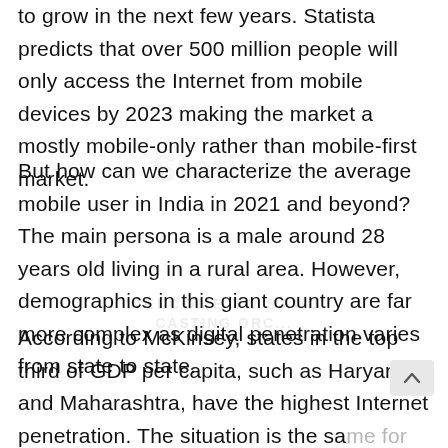to grow in the next few years. Statista predicts that over 500 million people will only access the Internet from mobile devices by 2023 making the market a mostly mobile-only rather than mobile-first market.
But how can we characterize the average mobile user in India in 2021 and beyond? The main persona is a male around 28 years old living in a rural area. However, demographics in this giant country are far more complex as digital penetration varies from state to state.
According to McKinsey, states in the top third of GDP per capita, such as Haryana and Maharashtra, have the highest Internet penetration. The situation is the same for highly urbanized states and union territories of Chandigarh,